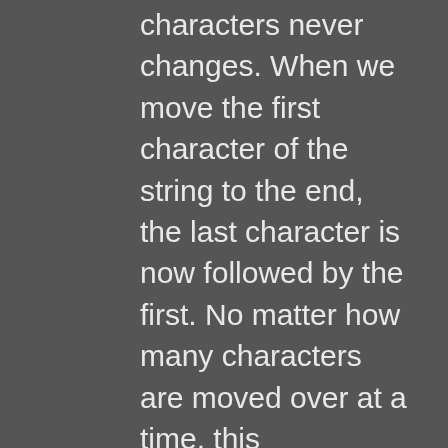characters never changes. When we move the first character of the string to the end, the last character is now followed by the first. No matter how many characters are moved over at a time, this relationship will always remain true, and each character within the string will at all times be followed (and proceeded by) the same characters as in the original untransformed string. All we have done is create a new rule, that the end of the string is immediately followed by the beginning. In topology this is known as a loop, a function over an interval where the state at the end of the interval is